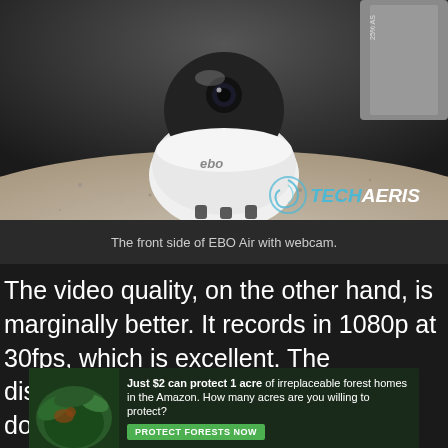[Figure (photo): Photo of EBO Air robot camera device sitting on a granite countertop. The device is white and black, spherical in shape with a camera on top. Techaeris logo visible in bottom right corner of photo.]
The front side of EBO Air with webcam.
The video quality, on the other hand, is marginally better. It records in 1080p at 30fps, which is excellent. The disadvantage is that when you download the video to your device’s internal storage, it will run at 1 frame per second. It’s unclear why it does this, but you’ll have to view it directly from the EBO application to get the
[Figure (other): Advertisement banner: Just $2 can protect 1 acre of irreplaceable forest homes in the Amazon. How many acres are you willing to protect? Button: PROTECT FORESTS NOW]